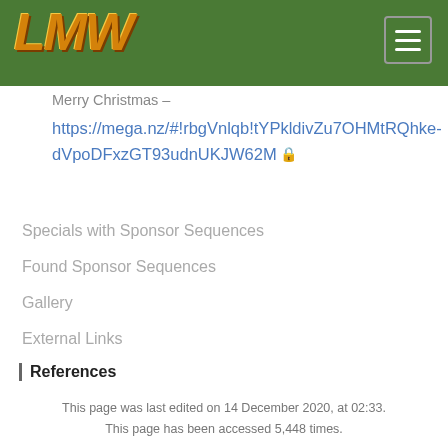LMW
Merry Christmas –
https://mega.nz/#!rbgVnlqb!tYPkldivZu7OHMtRQhke-dVpoDFxzGT93udnUKJW62M 🔒
Specials with Sponsor Sequences
Found Sponsor Sequences
Gallery
External Links
References
This page was last edited on 14 December 2020, at 02:33.
This page has been accessed 5,448 times.